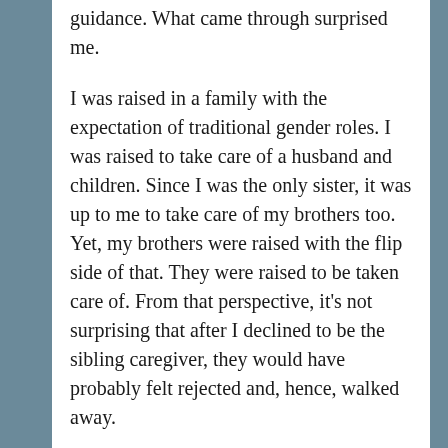guidance. What came through surprised me.
I was raised in a family with the expectation of traditional gender roles. I was raised to take care of a husband and children. Since I was the only sister, it was up to me to take care of my brothers too. Yet, my brothers were raised with the flip side of that. They were raised to be taken care of. From that perspective, it's not surprising that after I declined to be the sibling caregiver, they would have probably felt rejected and, hence, walked away.
Although, this dynamic is not my fault nor theirs, all three of us were raised by parents who loved us and did the best they could. They sincerely tried so hard to fulfill these